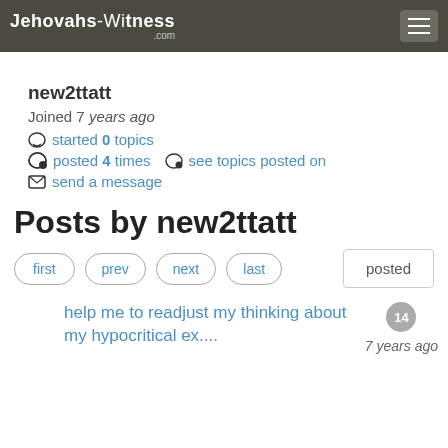Jehovahs-Witness.com
new2ttatt
Joined 7 years ago
started 0 topics
posted 4 times  see topics posted on
send a message
Posts by new2ttatt
first  prev  next  last  posted
help me to readjust my thinking about my hypocritical ex....  14  7 years ago